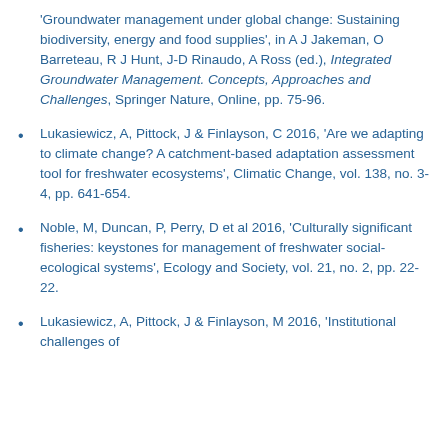'Groundwater management under global change: Sustaining biodiversity, energy and food supplies', in A J Jakeman, O Barreteau, R J Hunt, J-D Rinaudo, A Ross (ed.), Integrated Groundwater Management. Concepts, Approaches and Challenges, Springer Nature, Online, pp. 75-96.
Lukasiewicz, A, Pittock, J & Finlayson, C 2016, 'Are we adapting to climate change? A catchment-based adaptation assessment tool for freshwater ecosystems', Climatic Change, vol. 138, no. 3-4, pp. 641-654.
Noble, M, Duncan, P, Perry, D et al 2016, 'Culturally significant fisheries: keystones for management of freshwater social-ecological systems', Ecology and Society, vol. 21, no. 2, pp. 22-22.
Lukasiewicz, A, Pittock, J & Finlayson, M 2016, 'Institutional challenges of